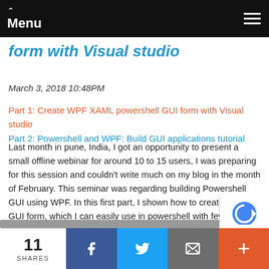Menu
form with Visual studio
March 3, 2018 10:48PM
Part 1: Create WPF XAML powershell GUI form with Visual studio
Part 2: Powershell and WPF: Build GUI applications tutorial
Last month in pune, India, I got an opportunity to present a small offline webinar for around 10 to 15 users, I was preparing for this session and couldn't write much on my blog in the month of February. This seminar was regarding building Powershell GUI using WPF. In this first part, I shown how to create a XAML GUI form, which I can easily use in powershell with few modification. Before designing a form I always use pen and paper to know, how my GUI will look like. Below is my ruff design, Sorry for the bad handwriting and straight lines :).
11 SHARES | Facebook | Twitter | Email | More